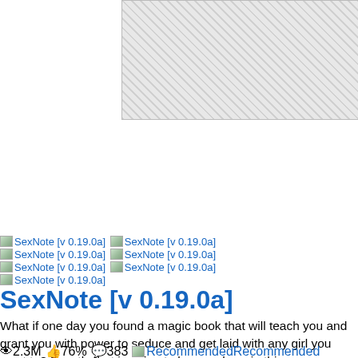[Figure (screenshot): Partial screenshot/image placeholder with crosshatch pattern, top center of page, cropped]
The re
not be
becau
addres
(44.20
SexNote [v 0.19.0a] SexNote [v 0.19.0a]
SexNote [v 0.19.0a] SexNote [v 0.19.0a]
SexNote [v 0.19.0a] SexNote [v 0.19.0a]
SexNote [v 0.19.0a]
SexNote [v 0.19.0a]
What if one day you found a magic book that will teach you and grant you with power to seduce and get laid with any girl you want to? Exactly that is going to happen here in this game as you take a role of the guy who lived together with 2 mothers (lesbian couple) and stepsister.
👁2.3M  👍76%  💬383  [img]RecommendedRecommended